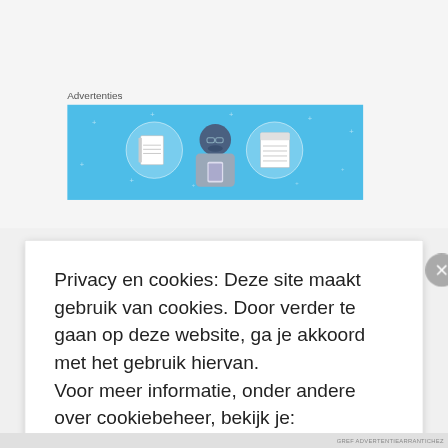[Figure (illustration): Blue banner advertisement with a cartoon person holding a phone, flanked by two circular icons showing a notebook and a list/document. Small star/cross decorations scattered on the blue background.]
Privacy en cookies: Deze site maakt gebruik van cookies. Door verder te gaan op deze website, ga je akkoord met het gebruik hiervan.
Voor meer informatie, onder andere over cookiebeheer, bekijk je: Cookiebeleid
Sluiten en bevestigen